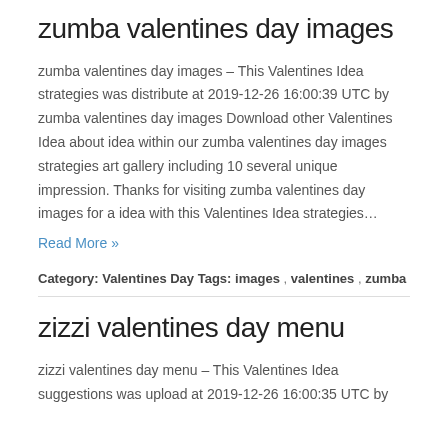zumba valentines day images
zumba valentines day images – This Valentines Idea strategies was distribute at 2019-12-26 16:00:39 UTC by zumba valentines day images Download other Valentines Idea about idea within our zumba valentines day images strategies art gallery including 10 several unique impression. Thanks for visiting zumba valentines day images for a idea with this Valentines Idea strategies…
Read More »
Category: Valentines Day Tags: images , valentines , zumba
zizzi valentines day menu
zizzi valentines day menu – This Valentines Idea suggestions was upload at 2019-12-26 16:00:35 UTC by